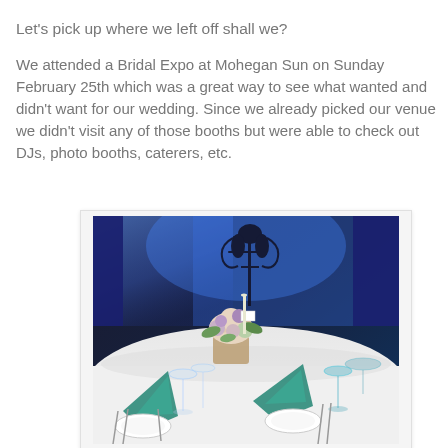Let's pick up where we left off shall we?
We attended a Bridal Expo at Mohegan Sun on Sunday February 25th which was a great way to see what wanted and didn't want for our wedding. Since we already picked our venue we didn't visit any of those booths but were able to check out DJs, photo booths, caterers, etc.
[Figure (photo): A photo of a wedding reception table setting with white tablecloth, teal/green napkins, glassware, silverware, and a floral centerpiece with flowers in cream, pink, and purple. The background shows blue uplighting on curtains and a decorative metal arch or candelabra.]